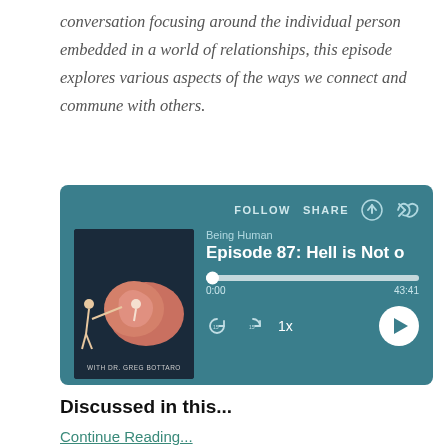conversation focusing around the individual person embedded in a world of relationships, this episode explores various aspects of the ways we connect and commune with others.
[Figure (screenshot): Podcast player widget for 'Being Human' Episode 87: Hell is Not O... showing album art, progress bar at 0:00, total time 43:41, and playback controls.]
Discussed in this...
Continue Reading...